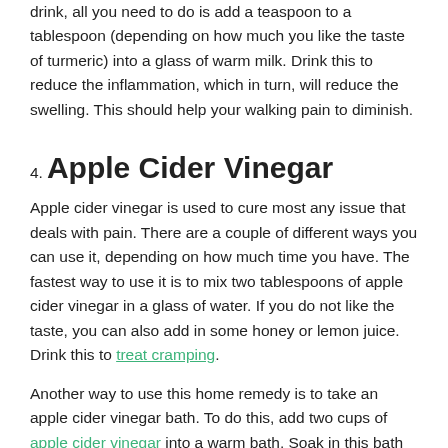drink, all you need to do is add a teaspoon to a tablespoon (depending on how much you like the taste of turmeric) into a glass of warm milk. Drink this to reduce the inflammation, which in turn, will reduce the swelling. This should help your walking pain to diminish.
4. Apple Cider Vinegar
Apple cider vinegar is used to cure most any issue that deals with pain. There are a couple of different ways you can use it, depending on how much time you have. The fastest way to use it is to mix two tablespoons of apple cider vinegar in a glass of water. If you do not like the taste, you can also add in some honey or lemon juice. Drink this to treat cramping.
Another way to use this home remedy is to take an apple cider vinegar bath. To do this, add two cups of apple cider vinegar into a warm bath. Soak in this bath for twenty to thirty minutes to feel relief from your walking pain.